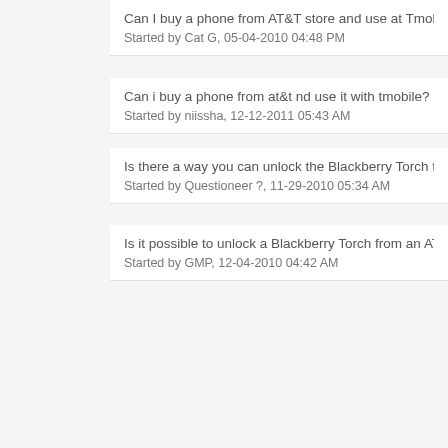Can I buy a phone from AT&T store and use at Tmobile?
Started by Cat G, 05-04-2010 04:48 PM
Can i buy a phone from at&t nd use it with tmobile?
Started by niissha, 12-12-2011 05:43 AM
Is there a way you can unlock the Blackberry Torch from AT...
Started by Questioneer ?, 11-29-2010 05:34 AM
Is it possible to unlock a Blackberry Torch from an AT&T pr...
Started by GMP, 12-04-2010 04:42 AM
Results 1 to 25 of 500
Contact Us   Discuss Everything - Uncensored Offtopic Discussio...
Back to top
All t...
Po...